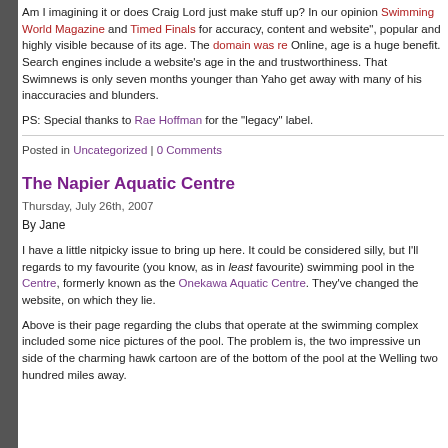Am I imagining it or does Craig Lord just make stuff up? In our opinion Swimming World Magazine and Timed Finals for accuracy, content and website", popular and highly visible because of its age. The domain was re Online, age is a huge benefit. Search engines include a website's age in the and trustworthiness. That Swimnews is only seven months younger than Yaho get away with many of his inaccuracies and blunders.
PS: Special thanks to Rae Hoffman for the "legacy" label.
Posted in Uncategorized | 0 Comments
The Napier Aquatic Centre
Thursday, July 26th, 2007
By Jane
I have a little nitpicky issue to bring up here. It could be considered silly, but I'll regards to my favourite (you know, as in least favourite) swimming pool in the Centre, formerly known as the Onekawa Aquatic Centre. They've changed the website, on which they lie.
Above is their page regarding the clubs that operate at the swimming complex included some nice pictures of the pool. The problem is, the two impressive un side of the charming hawk cartoon are of the bottom of the pool at the Welling two hundred miles away.